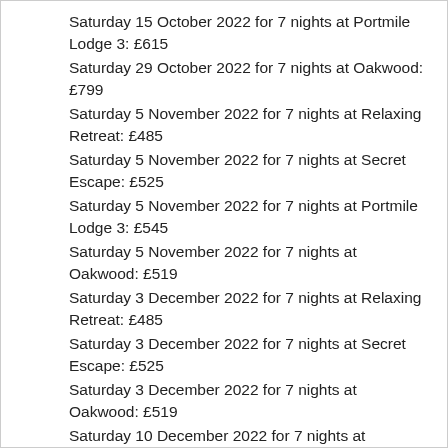Saturday 15 October 2022 for 7 nights at Portmile Lodge 3: £615
Saturday 29 October 2022 for 7 nights at Oakwood: £799
Saturday 5 November 2022 for 7 nights at Relaxing Retreat: £485
Saturday 5 November 2022 for 7 nights at Secret Escape: £525
Saturday 5 November 2022 for 7 nights at Portmile Lodge 3: £545
Saturday 5 November 2022 for 7 nights at Oakwood: £519
Saturday 3 December 2022 for 7 nights at Relaxing Retreat: £485
Saturday 3 December 2022 for 7 nights at Secret Escape: £525
Saturday 3 December 2022 for 7 nights at Oakwood: £519
Saturday 10 December 2022 for 7 nights at